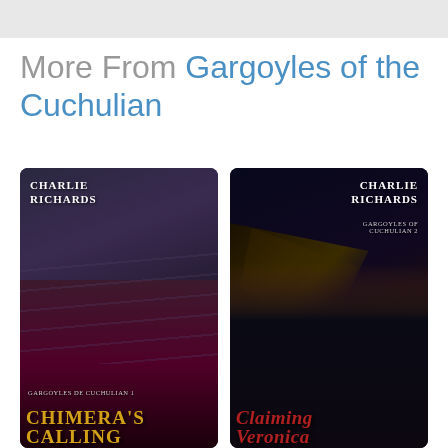More From Gargoyles of the Cuchulian
[Figure (photo): Book cover for 'Chimera's Calling' by Charlie Richards — Gargoyles of Cuchulian 1. Dark fantasy romance cover showing a woman in fur-trimmed clothing in the foreground and a shirtless man behind her, with dramatic dark purple and red tones. Title text in gold at the bottom.]
[Figure (photo): Book cover for 'Claiming Veronica' by Charlie Richards — Gargoyles of Cuchulian 2. Dark romance cover showing a couple kissing against a city skyline at night, with a large golden wing shape in the background. Title text in red script at the bottom.]